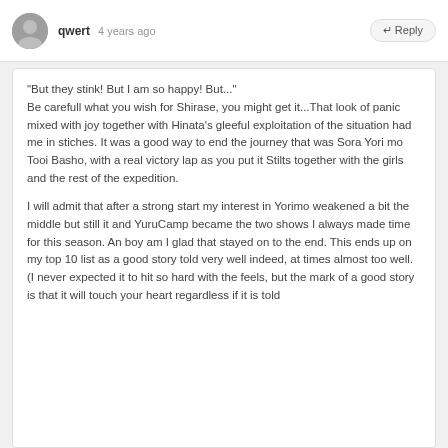qwert   4 years ago   ↵ Reply
"But they stink! But I am so happy! But..." Be carefull what you wish for Shirase, you might get it...That look of panic mixed with joy together with Hinata's gleeful exploitation of the situation had me in stiches. It was a good way to end the journey that was Sora Yori mo Tooi Basho, with a real victory lap as you put it Stilts together with the girls and the rest of the expedition.

I will admit that after a strong start my interest in Yorimo weakened a bit the middle but still it and YuruCamp became the two shows I always made time for this season. An boy am I glad that stayed on to the end. This ends up on my top 10 list as a good story told very well indeed, at times almost too well. (I never expected it to hit so hard with the feels, but the mark of a good story is that it will touch your heart regardless if it is told